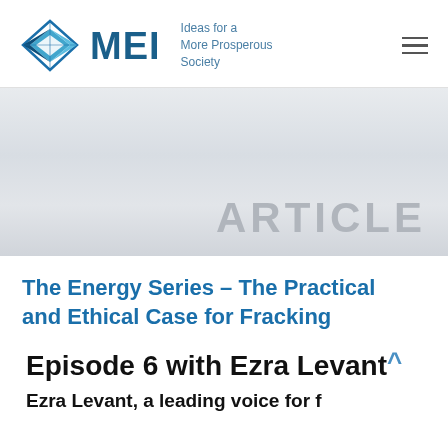[Figure (logo): MEI logo with diamond shape icon, 'MEI' text and tagline 'Ideas for a More Prosperous Society']
[Figure (illustration): Light gray gradient hero banner with the word ARTICLE in large gray letters at the bottom right]
The Energy Series – The Practical and Ethical Case for Fracking
Episode 6 with Ezra Levant^